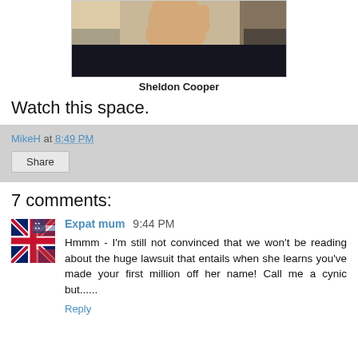[Figure (photo): Photo of a person (Sheldon Cooper) with hand raised in a wave gesture, dark clothing, indoor background.]
Sheldon Cooper
Watch this space.
MikeH at 8:49 PM
Share
7 comments:
[Figure (photo): Avatar image showing a flag with red, blue and white colors (British-American flag).]
Expat mum 9:44 PM
Hmmm - I'm still not convinced that we won't be reading about the huge lawsuit that entails when she learns you've made your first million off her name! Call me a cynic but......
Reply